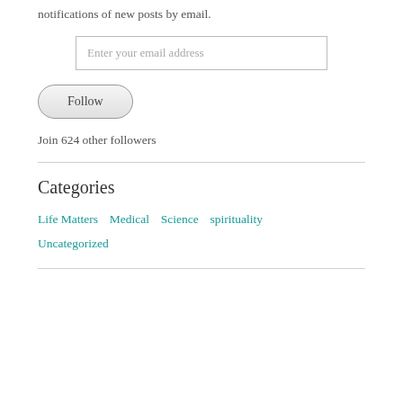notifications of new posts by email.
Enter your email address
Follow
Join 624 other followers
Categories
Life Matters
Medical
Science
spirituality
Uncategorized